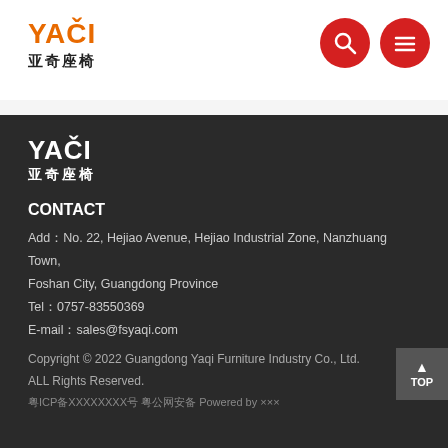YAQI 亚奇座椅 [logo with search and menu icons]
[Figure (logo): YAQI 亚奇座椅 logo in the footer - white text on dark background]
CONTACT
Add：No. 22, Hejiao Avenue, Hejiao Industrial Zone, Nanzhuang Town, Foshan City, Guangdong Province
Tel：0757-83550369
E-mail：sales@fsyaqi.com
Copyright © 2022 Guangdong Yaqi Furniture Industry Co., Ltd. ALL Rights Reserved.
TOP button